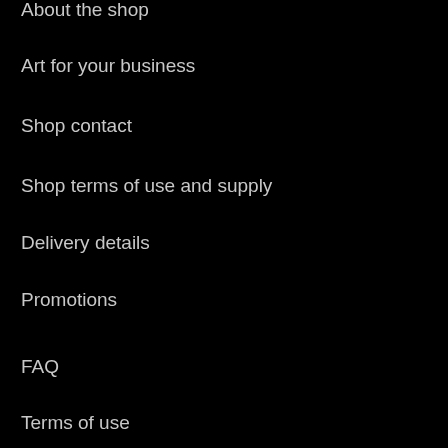About the shop
Art for your business
Shop contact
Shop terms of use and supply
Delivery details
Promotions
FAQ
Terms of use
Privacy policy
Use of cookies
Copyright notice
Disclaimer